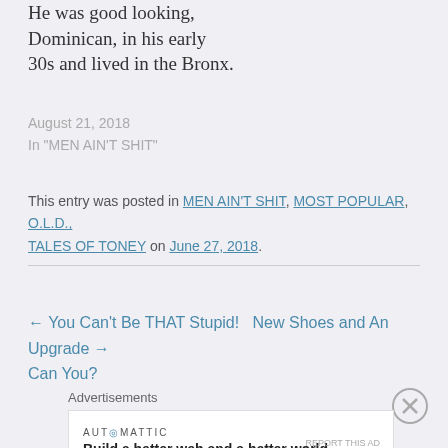He was good looking, Dominican, in his early 30s and lived in the Bronx.
August 21, 2018
In "MEN AIN'T SHIT"
This entry was posted in MEN AIN'T SHIT, MOST POPULAR, O.L.D., TALES OF TONEY on June 27, 2018.
← You Can't Be THAT Stupid!   New Shoes and An Upgrade →
Can You?
Advertisements
[Figure (other): Automattic advertisement banner: 'Build a better web and a better world.']